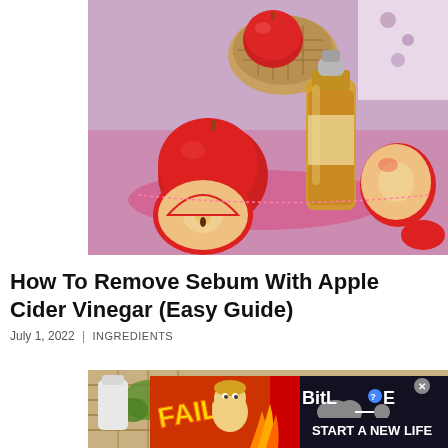[Figure (photo): Apple cider vinegar in a glass bottle with red apples and apple slices on a purple/pink background with a wicker basket]
How To Remove Sebum With Apple Cider Vinegar (Easy Guide)
July 1, 2022 | INGREDIENTS
[Figure (photo): Partial view of another article image showing a basket and green elements]
[Figure (screenshot): BitLife advertisement banner with FAIL text, animated character, flames, and START A NEW LIFE slogan]